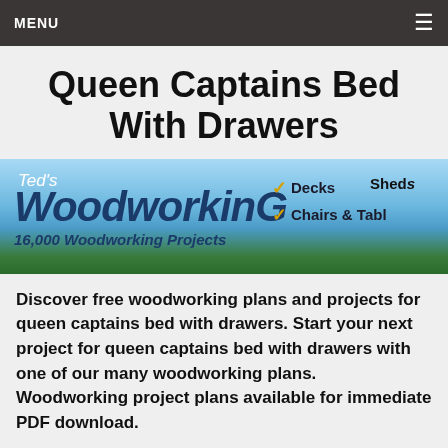MENU
Queen Captains Bed With Drawers
[Figure (illustration): Ted's WoodworkinG banner ad. Text: Ted's WoodworkinG, 16,000 Woodworking Projects. Checkmarks next to Decks, Chairs & Tables, Sheds. Background shows blue sky and green grass.]
Discover free woodworking plans and projects for queen captains bed with drawers. Start your next project for queen captains bed with drawers with one of our many woodworking plans. Woodworking project plans available for immediate PDF download.
Woodworking Projects & Plans for "Queen